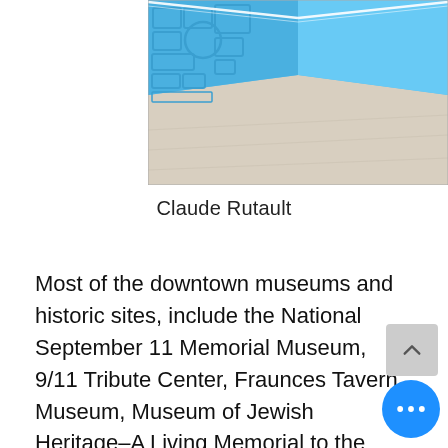[Figure (photo): Interior room with bright blue walls featuring geometric relief panels (rectangles and circles), a light wood floor, and bright linear LED ceiling lights creating a perspective vanishing point.]
Claude Rutault
Most of the downtown museums and historic sites, include the National September 11 Memorial Museum, 9/11 Tribute Center, Fraunces Tavern Museum, Museum of Jewish Heritage–A Living Memorial to the Holocaust, and South Street Seaport Museum,